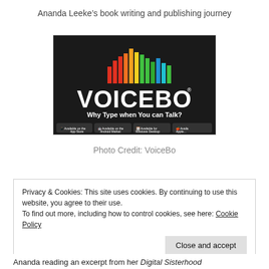Ananda Leeke’s book writing and publishing journey
[Figure (logo): VoiceBo logo on black background with colorful equalizer bars above the word VOICEBO and tagline 'Why Type when You can Talk?' with app store download buttons.]
Photo Credit: VoiceBo
Privacy & Cookies: This site uses cookies. By continuing to use this website, you agree to their use.
To find out more, including how to control cookies, see here: Cookie Policy
Close and accept
Ananda reading an excerpt from her Digital Sisterhood